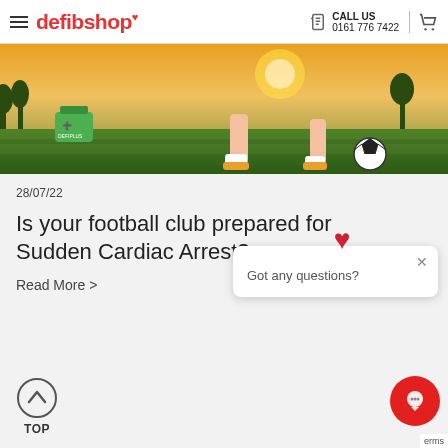defibshop | CALL US 0161 776 7422
[Figure (photo): Hero image of a football player kicking a ball at sunset on a grass pitch, with a green defibrillator bag in the background]
28/07/22
Is your football club prepared for Sudden Cardiac Arrest?
Read More >
Got any questions?
TOP